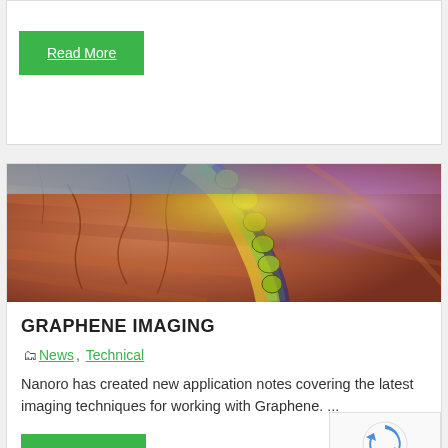Read More
[Figure (photo): Microscopy image of graphene showing colorful iridescent surface with orange-brown tones, yellow-green boundary features, and purple hues — a close-up scientific imaging photograph]
GRAPHENE IMAGING
News, Technical
Nanoro has created new application notes covering the latest imaging techniques for working with Graphene. ...
Read More